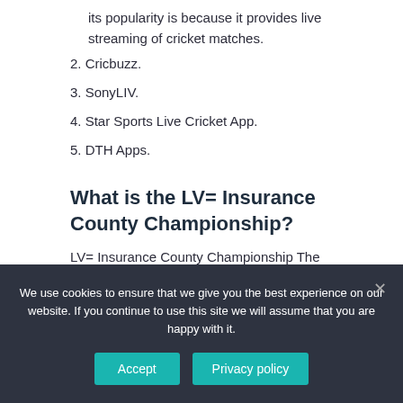its popularity is because it provides live streaming of cricket matches.
2. Cricbuzz.
3. SonyLIV.
4. Star Sports Live Cricket App.
5. DTH Apps.
What is the LV= Insurance County Championship?
LV= Insurance County Championship The County
We use cookies to ensure that we give you the best experience on our website. If you continue to use this site we will assume that you are happy with it.
Accept
Privacy policy